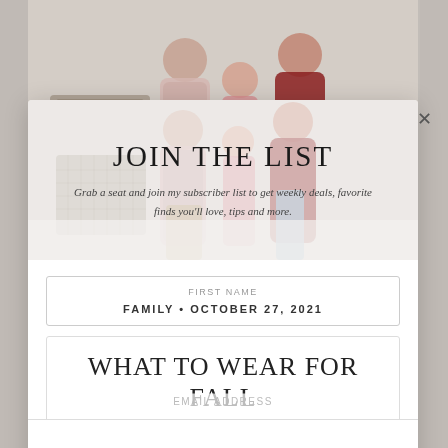[Figure (photo): Family photo showing adults and children in fall/casual clothing standing together in a living room setting]
JOIN THE LIST
Grab a seat and join my subscriber list to get weekly deals, favorite finds you'll love, tips and more.
FIRST NAME
FAMILY • OCTOBER 27, 2021
WHAT TO WEAR FOR FALL FAMILY PHOTOS
EMAIL ADDRESS
Subscribe
BY TEAM XO